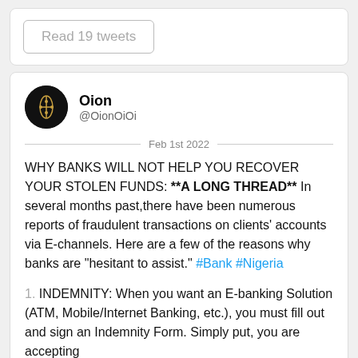Read 19 tweets
Oion @OionOiOi
Feb 1st 2022
WHY BANKS WILL NOT HELP YOU RECOVER YOUR STOLEN FUNDS: **A LONG THREAD** In several months past,there have been numerous reports of fraudulent transactions on clients' accounts via E-channels. Here are a few of the reasons why banks are "hesitant to assist." #Bank #Nigeria
1. INDEMNITY: When you want an E-banking Solution (ATM, Mobile/Internet Banking, etc.), you must fill out and sign an Indemnity Form. Simply put, you are accepting